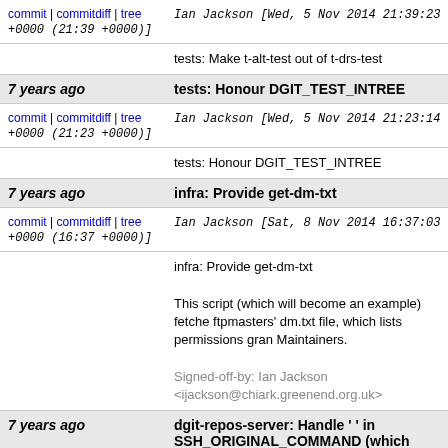commit | commitdiff | tree   Ian Jackson [Wed, 5 Nov 2014 21:39:23 +0000 (21:39 +0000)]
tests: Make t-alt-test out of t-drs-test
7 years ago   tests: Honour DGIT_TEST_INTREE
commit | commitdiff | tree   Ian Jackson [Wed, 5 Nov 2014 21:23:14 +0000 (21:23 +0000)]
tests: Honour DGIT_TEST_INTREE
7 years ago   infra: Provide get-dm-txt
commit | commitdiff | tree   Ian Jackson [Sat, 8 Nov 2014 16:37:03 +0000 (16:37 +0000)]
infra: Provide get-dm-txt

This script (which will become an example) fetches ftpmasters' dm.txt file, which lists permissions granted to DMs by Maintainers.

Signed-off-by: Ian Jackson <ijackson@chiark.greenend.org.uk>
7 years ago   dgit-repos-server: Handle ' ' in SSH_ORIGINAL_COMMAND (which some git versions send...